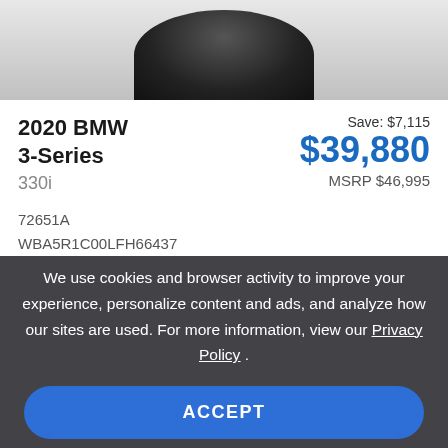[Figure (photo): Partial view of a BMW vehicle, showing top portion of the car body against a light gray background, cropped at the top of the page.]
2020 BMW 3-Series
330i
Save: $7,115
$39,880
MSRP $46,995
72651A
WBA5R1C00LFH66437
We use cookies and browser activity to improve your experience, personalize content and ads, and analyze how our sites are used. For more information, view our Privacy Policy .
ACCEPT